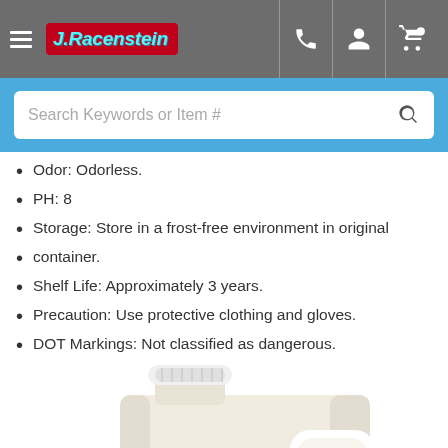J.Racenstein navigation bar with hamburger menu, logo, phone, account, and cart icons
Search Keywords or Item #
Odor: Odorless.
PH: 8
Storage: Store in a frost-free environment in original
container.
Shelf Life: Approximately 3 years.
Precaution: Use protective clothing and gloves.
DOT Markings: Not classified as dangerous.
[Figure (photo): A plastic jug/container with white cap, containing a pale yellowish-white liquid cleaning product, white background]